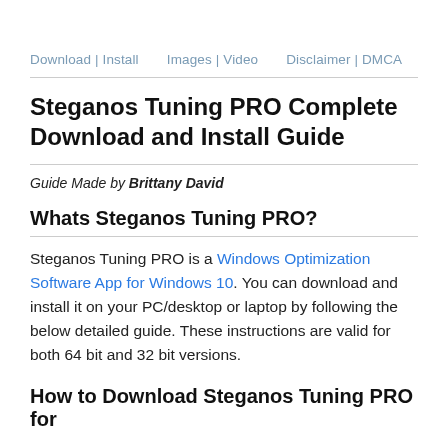Download | Install   Images | Video   Disclaimer | DMCA
Steganos Tuning PRO Complete Download and Install Guide
Guide Made by Brittany David
Whats Steganos Tuning PRO?
Steganos Tuning PRO is a Windows Optimization Software App for Windows 10. You can download and install it on your PC/desktop or laptop by following the below detailed guide. These instructions are valid for both 64 bit and 32 bit versions.
How to Download Steganos Tuning PRO for